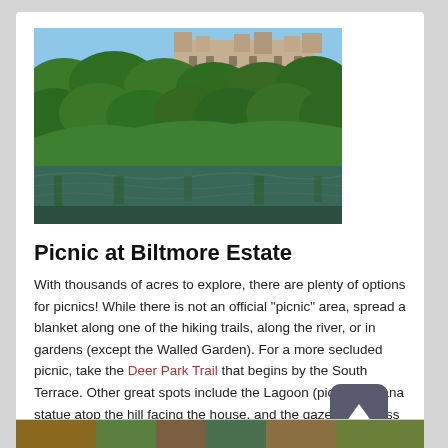[Figure (photo): Aerial view of Biltmore Estate castle visible above dense green trees, reflected in water below (the Lagoon)]
Picnic at Biltmore Estate
With thousands of acres to explore, there are plenty of options for picnics! While there is not an official "picnic" area, spread a blanket along one of the hiking trails, along the river, or in gardens (except the Walled Garden). For a more secluded picnic, take the Deer Park Trail that begins by the South Terrace. Other great spots include the Lagoon (pic), the Diana statue atop the hill facing the house, and the gazebo on Bass Lake. Bring your own or order a picnic at the Bake Shop, located adjacent to the Biltmore House.
Save to Trip | Read & see more!